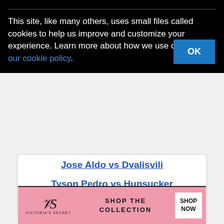This site, like many others, uses small files called cookies to help us improve and customize your experience. Learn more about how we use cookies in our cookie policy.
Jose Aldo vs Dvalisvili
Tyson Pedro vs Hunsucker
Marcin Tybura vs Romanov
[Figure (screenshot): Advertisement banner showing '37 ITEMS PEOPLE' text with a teal badge showing '22']
[Figure (screenshot): Victoria's Secret advertisement with pink background: 'SHOP THE COLLECTION' with SHOP NOW button]